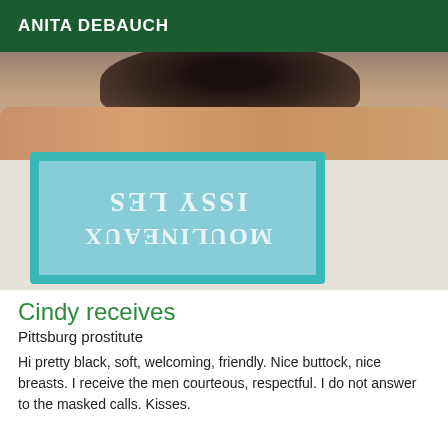ANITA DEBAUCH
[Figure (photo): A photo showing a dark cat or animal fur on top, skin/body visible, white sheet below, and a teal/blue postage-stamp style overlay with mirrored text reading 'ISSY LES MOULINEAUX']
Cindy receives
Pittsburg prostitute
Hi pretty black, soft, welcoming, friendly. Nice buttock, nice breasts. I receive the men courteous, respectful. I do not answer to the masked calls. Kisses.